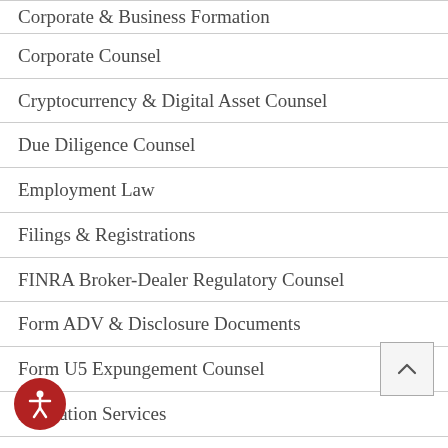Corporate & Business Formation
Corporate Counsel
Cryptocurrency & Digital Asset Counsel
Due Diligence Counsel
Employment Law
Filings & Registrations
FINRA Broker-Dealer Regulatory Counsel
Form ADV & Disclosure Documents
Form U5 Expungement Counsel
Formation Services
IA Marketing Rule Counsel
Intellectual Property Law Services
Investment Adviser Regulatory Counsel (SEC & State)